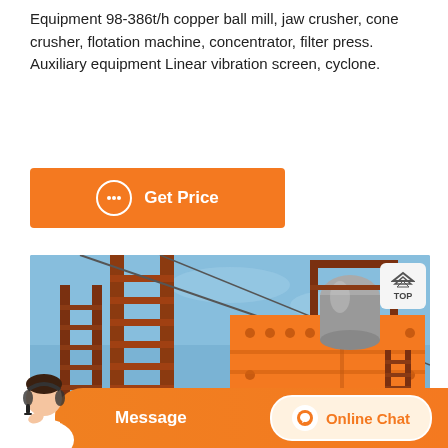Equipment 98-386t/h copper ball mill, jaw crusher, cone crusher, flotation machine, concentrator, filter press. Auxiliary equipment Linear vibration screen, cyclone.
[Figure (other): Orange button with chat icon and text 'Get Price']
[Figure (photo): Industrial mining equipment - orange vibrating screen or jaw crusher with metal ladder structure against a blue sky background. A cylindrical component is visible at the top.]
[Figure (other): Bottom navigation bar with customer service representative image on left, Message button in center, and Online Chat button with icon on right, all on orange background]